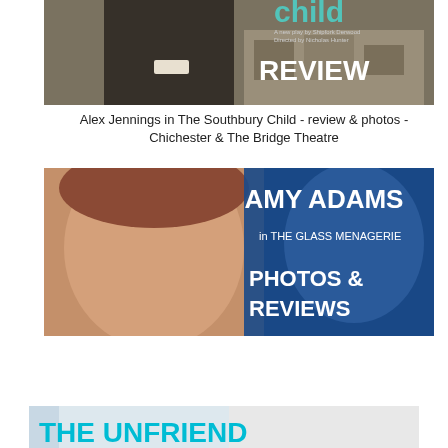[Figure (photo): Promotional image for The Southbury Child - Alex Jennings in clerical collar, sepia-toned background with buildings, text overlay reading 'REVIEW']
Alex Jennings in The Southbury Child - review & photos - Chichester & The Bridge Theatre
[Figure (photo): Promotional image for Amy Adams in The Glass Menagerie - close-up of Amy Adams face with text overlay reading 'AMY ADAMS in THE GLASS MENAGERIE PHOTOS & REVIEWS']
Amy Adams in The Glass Menagerie - Photos & Reviews Roundup
[Figure (photo): Partial promotional image for The Unfriend - bottom of page, teal/cyan text visible reading 'THE UNFRIEND']